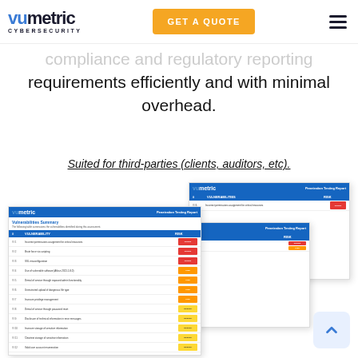vumetric CYBERSECURITY | GET A QUOTE
compliance and regulatory reporting requirements efficiently and with minimal overhead.
Suited for third-parties (clients, auditors, etc).
[Figure (screenshot): Three overlapping Vumetric Penetration Testing Report document previews showing vulnerability summary tables with severity ratings (Critical, High, Medium) color-coded in red, orange, and yellow.]